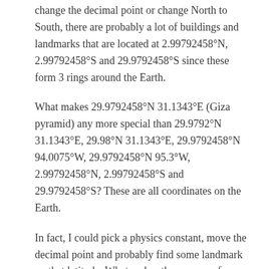change the decimal point or change North to South, there are probably a lot of buildings and landmarks that are located at 2.99792458°N, 2.99792458°S and 29.9792458°S since these form 3 rings around the Earth.
What makes 29.9792458°N 31.1343°E (Giza pyramid) any more special than 29.9792°N 31.1343°E, 29.98°N 31.1343°E, 29.9792458°N 94.0075°W, 29.9792458°N 95.3°W, 2.99792458°N, 2.99792458°S and 29.9792458°S? These are all coordinates on the Earth.
In fact, I could pick a physics constant, move the decimal point and probably find some landmark on that latitude. What makes the process of